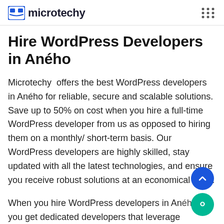microtechy
Hire WordPress Developers in Aného
Microtechy  offers the best WordPress developers in Aného for reliable, secure and scalable solutions. Save up to 50% on cost when you hire a full-time WordPress developer from us as opposed to hiring them on a monthly/ short-term basis. Our WordPress developers are highly skilled, stay updated with all the latest technologies, and ensure you receive robust solutions at an economical price.
When you hire WordPress developers in Aného, you get dedicated developers that leverage